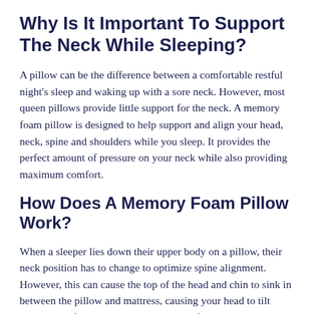Why Is It Important To Support The Neck While Sleeping?
A pillow can be the difference between a comfortable restful night's sleep and waking up with a sore neck. However, most queen pillows provide little support for the neck. A memory foam pillow is designed to help support and align your head, neck, spine and shoulders while you sleep. It provides the perfect amount of pressure on your neck while also providing maximum comfort.
How Does A Memory Foam Pillow Work?
When a sleeper lies down their upper body on a pillow, their neck position has to change to optimize spine alignment. However, this can cause the top of the head and chin to sink in between the pillow and mattress, causing your head to tilt towards the floor. The Sleepsia memory foam pillow uses its unique design with adjustable up-and-down height to keep your neck aligned with your spine while you sleep. It also keeps your head tilted up and off the mattress,